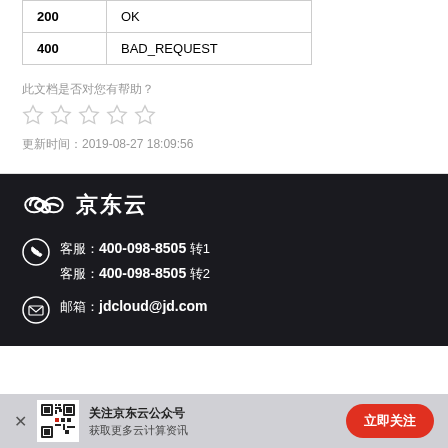|  |  |
| --- | --- |
| 200 | OK |
| 400 | BAD_REQUEST |
此文档是否对您有帮助？
[Figure (other): Five empty star rating icons in a row]
更新时间：2019-08-27 18:09:56
[Figure (logo): JD Cloud (京东云) logo with infinity-loop icon and Chinese text]
客服：400-098-8505 转1
客服：400-098-8505 转2
邮箱：jdcloud@jd.com
关注京东云公众号
获取更多云计算资讯